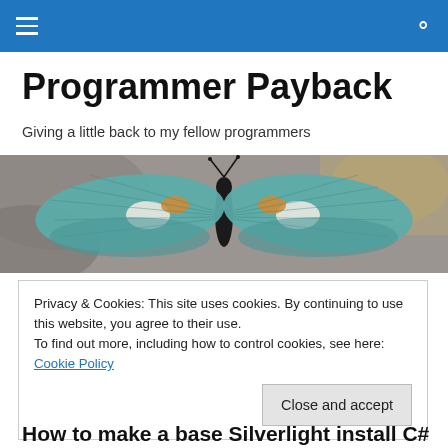Programmer Payback — navigation bar
Programmer Payback
Giving a little back to my fellow programmers
[Figure (photo): Close-up photo of a teal/blue butterfly with white and orange markings on its wings, resting on a grey surface.]
Privacy & Cookies: This site uses cookies. By continuing to use this website, you agree to their use.
To find out more, including how to control cookies, see here: Cookie Policy
[Close and accept]
How to make a base Silverlight install C#